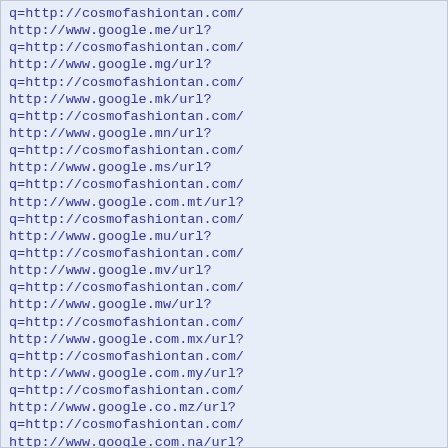q=http://cosmofashiontan.com/
http://www.google.me/url?
q=http://cosmofashiontan.com/
http://www.google.mg/url?
q=http://cosmofashiontan.com/
http://www.google.mk/url?
q=http://cosmofashiontan.com/
http://www.google.mn/url?
q=http://cosmofashiontan.com/
http://www.google.ms/url?
q=http://cosmofashiontan.com/
http://www.google.com.mt/url?
q=http://cosmofashiontan.com/
http://www.google.mu/url?
q=http://cosmofashiontan.com/
http://www.google.mv/url?
q=http://cosmofashiontan.com/
http://www.google.mw/url?
q=http://cosmofashiontan.com/
http://www.google.com.mx/url?
q=http://cosmofashiontan.com/
http://www.google.com.my/url?
q=http://cosmofashiontan.com/
http://www.google.co.mz/url?
q=http://cosmofashiontan.com/
http://www.google.com.na/url?
q=http://cosmofashiontan.com/
http://www.google.com.nf/url?
q=http://cosmofashiontan.com/
http://www.google.com.ng/url?